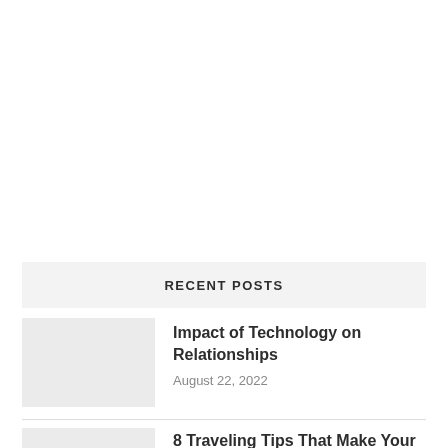RECENT POSTS
Impact of Technology on Relationships
August 22, 2022
8 Traveling Tips That Make Your